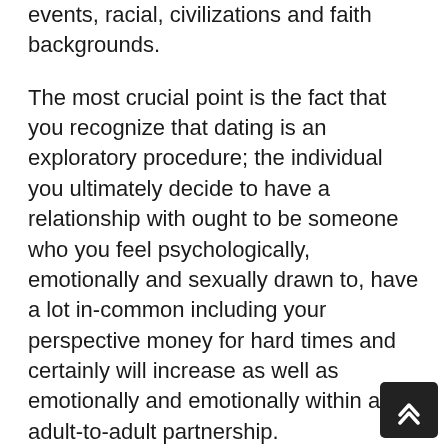events, racial, civilizations and faith backgrounds.
The most crucial point is the fact that you recognize that dating is an exploratory procedure; the individual you ultimately decide to have a relationship with ought to be someone who you feel psychologically, emotionally and sexually drawn to, have a lot in-common including your perspective money for hard times and certainly will increase as well as emotionally and emotionally within an adult-to-adult partnership.
Take into account that spiritually doesn't necessarily mean a specific faith however the lively intrinsic belief-system and connection that is crucial to a higher electricity that provides pleasure, toughness and comfort.
Without a psychic association it'll be difficult to preserve the partnership inside the long-term